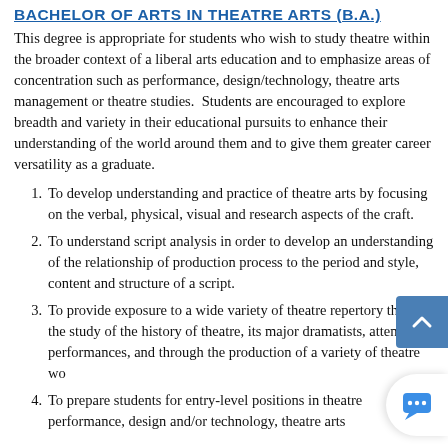BACHELOR OF ARTS IN THEATRE ARTS (B.A.)
This degree is appropriate for students who wish to study theatre within the broader context of a liberal arts education and to emphasize areas of concentration such as performance, design/technology, theatre arts management or theatre studies. Students are encouraged to explore breadth and variety in their educational pursuits to enhance their understanding of the world around them and to give them greater career versatility as a graduate.
To develop understanding and practice of theatre arts by focusing on the verbal, physical, visual and research aspects of the craft.
To understand script analysis in order to develop an understanding of the relationship of production process to the period and style, content and structure of a script.
To provide exposure to a wide variety of theatre repertory through the study of the history of theatre, its major dramatists, attending performances, and through the production of a variety of theatre works.
To prepare students for entry-level positions in theatre performance, design and/or technology, theatre arts management, and other theatre-related careers.